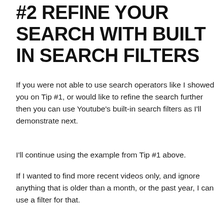#2 REFINE YOUR SEARCH WITH BUILT IN SEARCH FILTERS
If you were not able to use search operators like I showed you on Tip #1, or would like to refine the search further then you can use Youtube's built-in search filters as I'll demonstrate next.
I'll continue using the example from Tip #1 above.
If I wanted to find more recent videos only, and ignore anything that is older than a month, or the past year, I can use a filter for that.